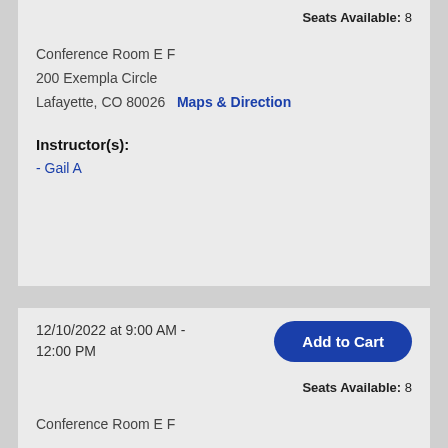Seats Available: 8
Conference Room E F
200 Exempla Circle
Lafayette, CO 80026   Maps & Direction
Instructor(s):
- Gail A
12/10/2022 at 9:00 AM - 12:00 PM
Add to Cart
Seats Available: 8
Conference Room E F